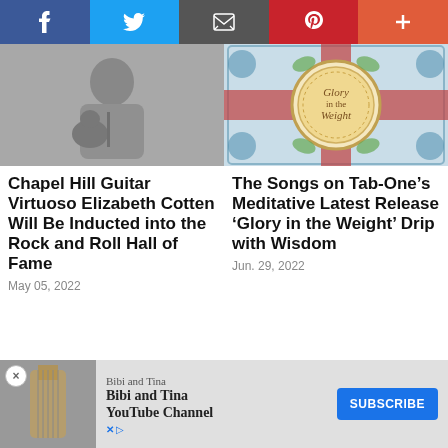Social share bar: Facebook, Twitter, Email, Pinterest, Plus
[Figure (photo): Black and white photo of Elizabeth Cotten playing guitar]
[Figure (illustration): Album cover art for 'Glory in the Weight' by Tab-One, ornate stained glass style]
Chapel Hill Guitar Virtuoso Elizabeth Cotten Will Be Inducted into the Rock and Roll Hall of Fame
May 05, 2022
The Songs on Tab-One's Meditative Latest Release 'Glory in the Weight' Drip with Wisdom
Jun. 29, 2022
[Figure (screenshot): Advertisement: Bibi and Tina YouTube Channel with Subscribe button]